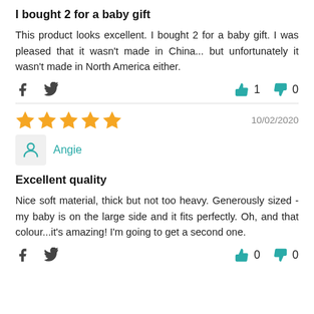I bought 2 for a baby gift
This product looks excellent. I bought 2 for a baby gift. I was pleased that it wasn't made in China... but unfortunately it wasn't made in North America either.
Social share icons and vote counts: thumbs up 1, thumbs down 0
5 stars | 10/02/2020 | Reviewer: Angie
Excellent quality
Nice soft material, thick but not too heavy. Generously sized - my baby is on the large side and it fits perfectly. Oh, and that colour...it's amazing! I'm going to get a second one.
Social share icons and vote counts: thumbs up 0, thumbs down 0